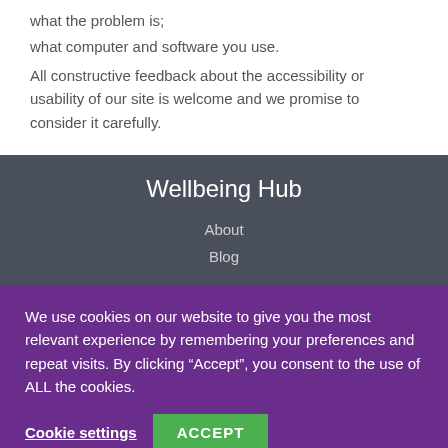what the problem is;
what computer and software you use.
All constructive feedback about the accessibility or usability of our site is welcome and we promise to consider it carefully.
Wellbeing Hub
About
Blog
We use cookies on our website to give you the most relevant experience by remembering your preferences and repeat visits. By clicking “Accept”, you consent to the use of ALL the cookies.
Cookie settings
ACCEPT